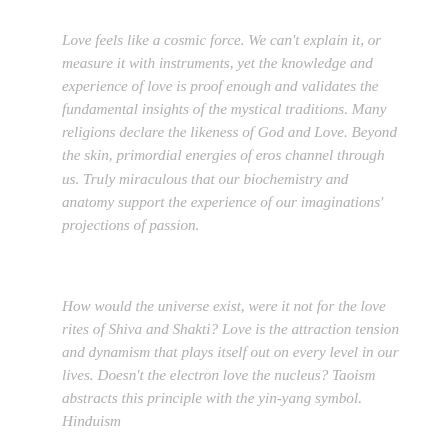Love feels like a cosmic force. We can't explain it, or measure it with instruments, yet the knowledge and experience of love is proof enough and validates the fundamental insights of the mystical traditions. Many religions declare the likeness of God and Love. Beyond the skin, primordial energies of eros channel through us. Truly miraculous that our biochemistry and anatomy support the experience of our imaginations' projections of passion.
How would the universe exist, were it not for the love rites of Shiva and Shakti? Love is the attraction tension and dynamism that plays itself out on every level in our lives. Doesn't the electron love the nucleus? Taoism abstracts this principle with the yin-yang symbol. Hinduism